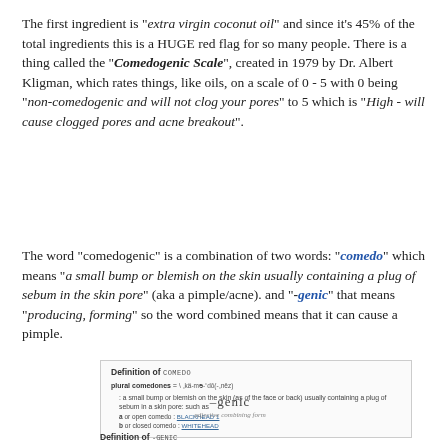The first ingredient is "extra virgin coconut oil" and since it's 45% of the total ingredients this is a HUGE red flag for so many people. There is a thing called the "Comedogenic Scale", created in 1979 by Dr. Albert Kligman, which rates things, like oils, on a scale of 0 - 5 with 0 being "non-comedogenic and will not clog your pores" to 5 which is "High - will cause clogged pores and acne breakout".
The word "comedogenic" is a combination of two words: "comedo" which means "a small bump or blemish on the skin usually containing a plug of sebum in the skin pore" (aka a pimple/acne). and "-genic" that means "producing, forming" so the word combined means that it can cause a pimple.
[Figure (other): Dictionary-style definition box for 'comedo' showing plural comedones, pronunciation, and definition including sub-entries for open comedo (blackhead) and closed comedo (whitehead)]
[Figure (other): Dictionary-style entry for '-genic' showing it as an adjective combining form, with 'Definition of -genic' heading below]